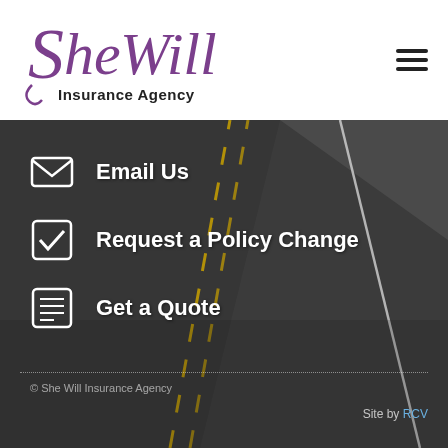[Figure (logo): She Will Insurance Agency logo with purple italic script and black sans-serif subtitle]
[Figure (illustration): Hamburger menu icon (three horizontal lines)]
[Figure (photo): Dark asphalt road with yellow dashed center lines and white shoulder lines, perspective view]
Email Us
Request a Policy Change
Get a Quote
© She Will Insurance Agency
Site by RCV